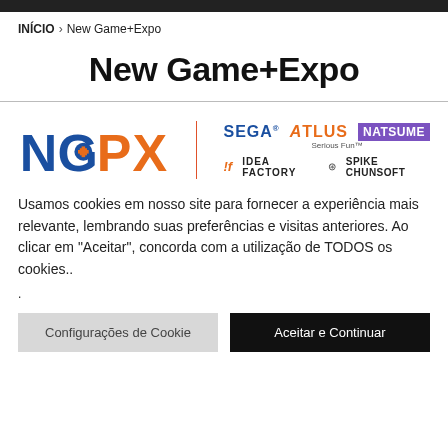INÍCIO > New Game+Expo
New Game+Expo
[Figure (logo): NGPX logo with partner logos: SEGA, ATLUS, NATSUME, Idea Factory, Spike Chunsoft]
Usamos cookies em nosso site para fornecer a experiência mais relevante, lembrando suas preferências e visitas anteriores. Ao clicar em "Aceitar", concorda com a utilização de TODOS os cookies..
.
Configurações de Cookie   Aceitar e Continuar